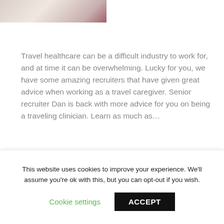[Figure (photo): Partial view of a person in white and dark red/maroon clothing, cropped at top of page]
Travel healthcare can be a difficult industry to work for, and at time it can be overwhelming. Lucky for you, we have some amazing recruiters that have given great advice when working as a travel caregiver. Senior recruiter Dan is back with more advice for you on being a traveling clinician. Learn as much as…
Read More
Traveling Nursing Advice from Senior Recruiter, Dan
This website uses cookies to improve your experience. We'll assume you're ok with this, but you can opt-out if you wish.
Cookie settings
ACCEPT